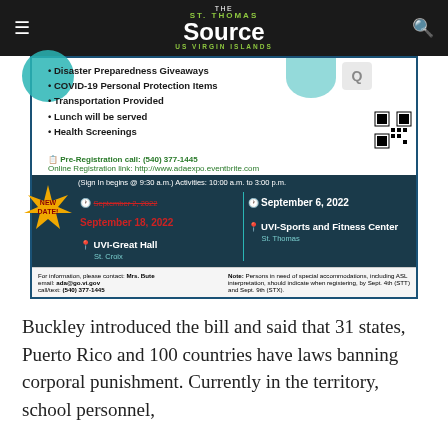The St. Thomas Source — US Virgin Islands
[Figure (infographic): ADA Expo event flyer showing bullet points for event features (Disaster Preparedness Giveaways, COVID-19 Personal Protection Items, Transportation Provided, Lunch will be served, Health Screenings), pre-registration call number (540) 377-1445, online registration link http://www.adaexpo.eventbrite.com, sign-in begins 9:30 a.m., Activities 10:00 a.m. to 3:00 p.m., NEW DATE badge, dates: September 2, 2022 (struck through), September 18, 2022 for UVI-Great Hall St. Croix; September 6, 2022 for UVI-Sports and Fitness Center St. Thomas, contact Mrs. Bute ada@go.vi.gov call/text (540) 377-1445, note about ASL interpretation.]
Buckley introduced the bill and said that 31 states, Puerto Rico and 100 countries have laws banning corporal punishment. Currently in the territory, school personnel,